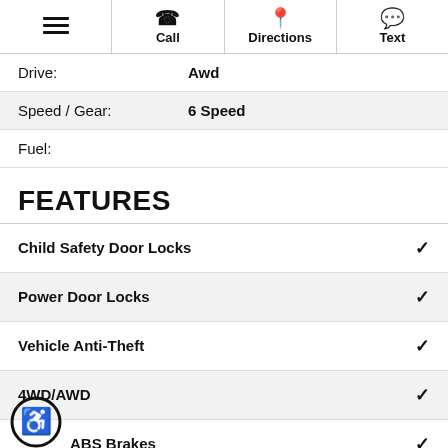Menu | Call | Directions | Text
| Field | Value |
| --- | --- |
| Drive: | Awd |
| Speed / Gear: | 6 Speed |
| Fuel: |  |
FEATURES
Child Safety Door Locks ✓
Power Door Locks ✓
Vehicle Anti-Theft ✓
4WD/AWD ✓
ABS Brakes ✓
Electronic Brake Assistance ✓